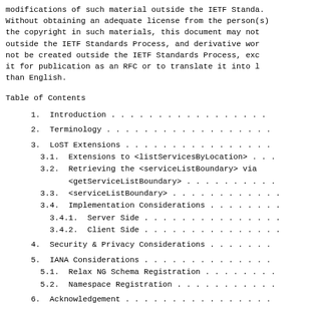modifications of such material outside the IETF Standa. Without obtaining an adequate license from the person(s) the copyright in such materials, this document may not outside the IETF Standards Process, and derivative wor not be created outside the IETF Standards Process, exc it for publication as an RFC or to translate it into l than English.
Table of Contents
1.  Introduction . . . . . . . . . . . . . . . . .
2.  Terminology . . . . . . . . . . . . . . . . . .
3.  LoST Extensions . . . . . . . . . . . . . . . .
3.1.  Extensions to <listServicesByLocation> . . .
3.2.  Retrieving the <serviceListBoundary> via
      <getServiceListBoundary> . . . . . . . . . .
3.3.  <serviceListBoundary> . . . . . . . . . . . .
3.4.  Implementation Considerations . . . . . . . .
3.4.1.  Server Side . . . . . . . . . . . . . . .
3.4.2.  Client Side . . . . . . . . . . . . . . .
4.  Security & Privacy Considerations . . . . . . .
5.  IANA Considerations . . . . . . . . . . . . . .
5.1.  Relax NG Schema Registration . . . . . . . .
5.2.  Namespace Registration . . . . . . . . . . .
6.  Acknowledgement . . . . . . . . . . . . . . . .